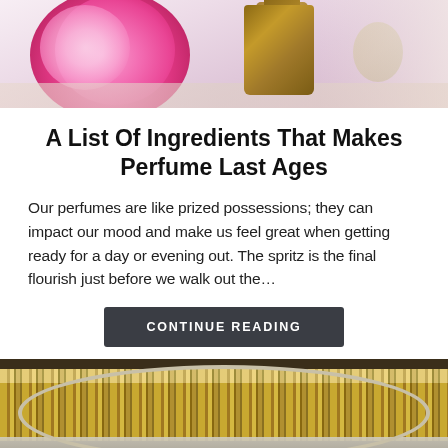[Figure (photo): Cropped photo showing pink peony flowers and a brown glass bottle on a light wooden surface]
A List Of Ingredients That Makes Perfume Last Ages
Our perfumes are like prized possessions; they can impact our mood and make us feel great when getting ready for a day or evening out. The spritz is the final flourish just before we walk out the…
CONTINUE READING
[Figure (photo): Photo of many small amber bottles arranged on a circular tray, with their mirror reflection visible below]